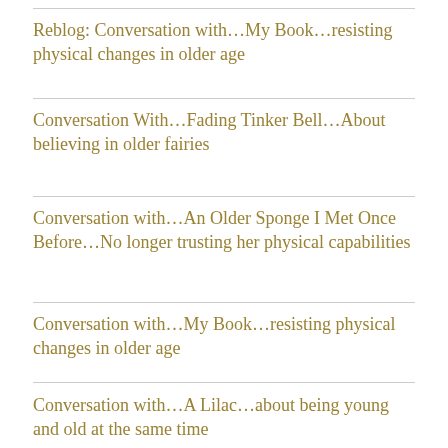Reblog: Conversation with…My Book…resisting physical changes in older age
Conversation With…Fading Tinker Bell…About believing in older fairies
Conversation with…An Older Sponge I Met Once Before…No longer trusting her physical capabilities
Conversation with…My Book…resisting physical changes in older age
Conversation with…A Lilac…about being young and old at the same time
CONVERSATION WITH…The Cheshire Cat from